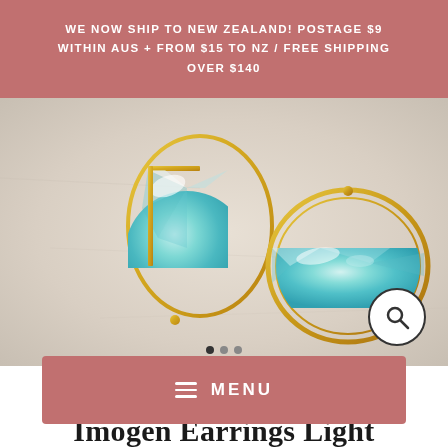WE NOW SHIP TO NEW ZEALAND! POSTAGE $9 WITHIN AUS + FROM $15 TO NZ / FREE SHIPPING OVER $140
[Figure (photo): Two gold hoop earrings with faceted light blue/aqua semicircle gemstones placed on a beige stone surface. Left earring shows D-shape profile, right earring shows circular hoop with gem inset.]
MENU
Imogen Earrings Light